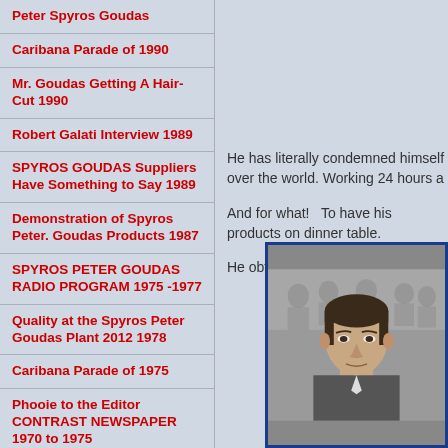Peter Spyros Goudas
Caribana Parade of 1990
Mr. Goudas Getting A Hair-Cut 1990
Robert Galati Interview 1989
SPYROS GOUDAS Suppliers Have Something to Say 1989
Demonstration of Spyros Peter. Goudas Products 1987
SPYROS PETER GOUDAS RADIO PROGRAM 1975 -1977
Quality at the Spyros Peter Goudas Plant 2012 1978
Caribana Parade of 1975
Phooie to the Editor CONTRAST NEWSPAPER 1970 to 1975
1975 Caribana Film in Full Length
He has literally condemned himself over the world. Working 24 hours a
And for what! To have his products on dinner table.
He obtains satisfaction knowing tha
[Figure (photo): Black and white photo of Peter Spyros Goudas with group of people in background, framed with blue border]